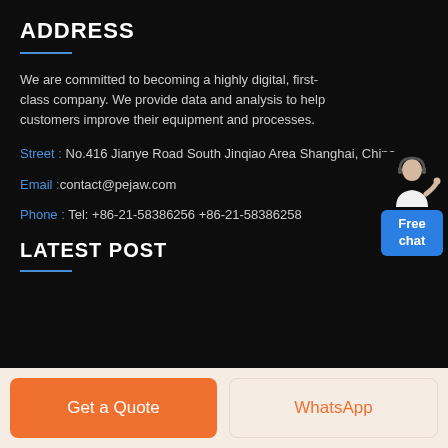ADDRESS
We are committed to becoming a highly digital, first-class company. We provide data and analysis to help customers improve their equipment and processes.
Street : No.416 Jianye Road South Jinqiao Area Shanghai, China
Email :contact@pejaw.com
Phone : Tel: +86-21-58386256 +86-21-58386258
LATEST POST
[Figure (illustration): Customer service avatar with headset, positioned above a blue Free chat button]
Get a Quote
WhatsApp